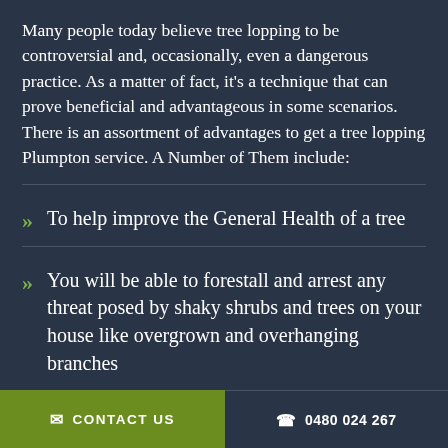Many people today believe tree lopping to be controversial and, occasionally, even a dangerous practice. As a matter of fact, it's a technique that can prove beneficial and advantageous in some scenarios. There is an assortment of advantages to get a tree lopping Plumpton service. A Number of Them include:
To help improve the General Health of a tree
You will be able to forestall and arrest any threat posed by shaky shrubs and trees on your house like overgrown and overhanging branches
✉ CONTACT US   ✆ 0480 024 267